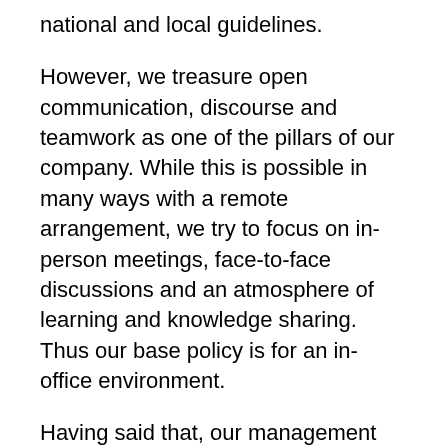national and local guidelines.
However, we treasure open communication, discourse and teamwork as one of the pillars of our company. While this is possible in many ways with a remote arrangement, we try to focus on in-person meetings, face-to-face discussions and an atmosphere of learning and knowledge sharing. Thus our base policy is for an in-office environment.
Having said that, our management team all have family and other personal obligations and understand the unique situations that exist for every single individual. In many cases where special accommodations are required for members of our team we do our best to work with the individual to accommodate their needs. Nearly